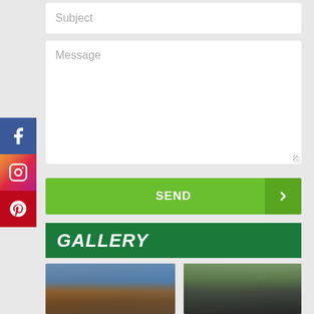[Figure (screenshot): Subject input field (text box with placeholder text 'Subject')]
[Figure (screenshot): Message textarea with placeholder text 'Message' and resize handle]
[Figure (screenshot): Green SEND button with right-arrow chevron on darker green right section]
[Figure (screenshot): Facebook social media button (blue with 'f' icon) on left sidebar]
[Figure (screenshot): Instagram social media button (gradient with camera icon) on left sidebar]
[Figure (screenshot): Pinterest social media button (red with 'P' icon) on left sidebar]
GALLERY
[Figure (photo): Architecture photo showing wooden cladding with warm lighting at dusk]
[Figure (photo): Architecture photo showing dark vertical cladding with trees and greenery]